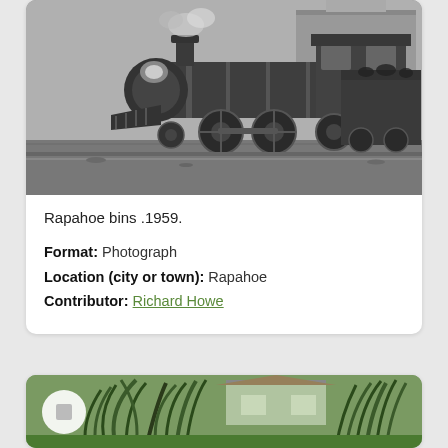[Figure (photo): Black and white photograph of a steam locomotive, side view showing boiler, wheels, and mechanical details. The locomotive appears weathered/aged, set in a rail yard environment.]
Rapahoe bins .1959.
Format: Photograph
Location (city or town): Rapahoe
Contributor: Richard Howe
[Figure (photo): Colour photograph partially visible showing a house and New Zealand flax plants in the foreground. A circular play/stop button overlay is visible on the left side of the image.]